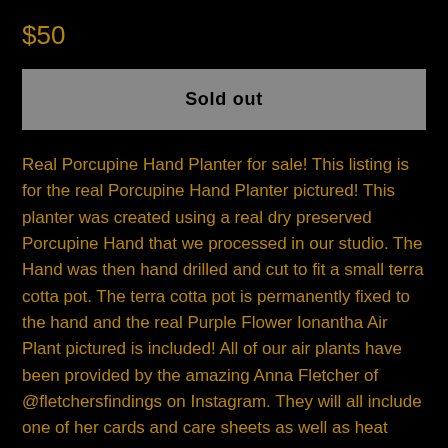$50
Sold out
Real Porcupine Hand Planter for sale! This listing is for the real Porcupine Hand Planter pictured! This planter was created using a real dry preserved Porcupine Hand that we processed in our studio. The Hand was then hand drilled and cut to fit a small terra cotta pot. The terra cotta pot is permanently fixed to the hand and the real Purple Flower Ionantha Air Plant pictured is included! All of our air plants have been provided by the amazing Anna Fletcher of @fletchersfindings on Instagram. They will all include one of her cards and care sheets as well as heat pads and insulation to ensure they survive the journey to their new home! This specific hand has been designed to be "free standing" and has a "live" back that has been coated in resin. If you would prefer it to be wall hanging or if you